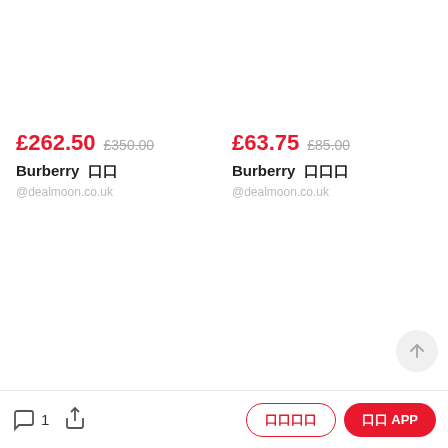£262.50  £350.00  Burberry 口口  @dealmoon.co.uk
£63.75  £85.00  Burberry 口口口  @dealmoon.co.uk
1  [share]  口口口口  口口 APP